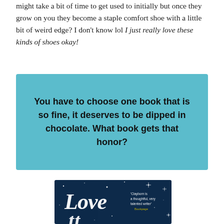might take a bit of time to get used to initially but once they grow on you they become a staple comfort shoe with a little bit of weird edge? I don't know lol I just really love these kinds of shoes okay!
You have to choose one book that is so fine, it deserves to be dipped in chocolate. What book gets that honor?
[Figure (illustration): Book cover with dark navy blue background showing white handwritten script text reading 'Love' and partial letters below, with sparkling star/light effects scattered around. A quote reads 'Clayborn is a thoughtful, very talented writer' from Bookpage in yellow/gold text.]